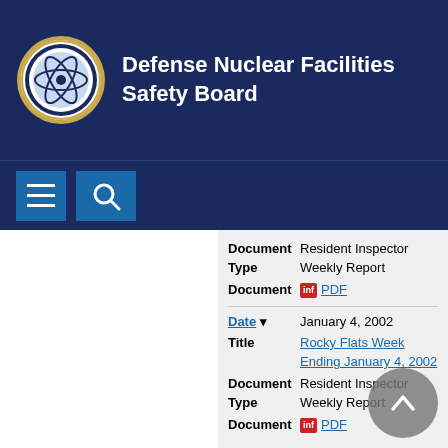[Figure (logo): Defense Nuclear Facilities Safety Board seal/logo (circular emblem)]
Defense Nuclear Facilities Safety Board
[Figure (other): Navigation bar with hamburger menu icon and search button]
| Field | Value |
| --- | --- |
| Document Type | Resident Inspector Weekly Report |
| Document | PDF |
| Date | January 4, 2002 |
| Title | Rocky Flats Week Ending January 4, 2002 |
| Document Type | Resident Inspector Weekly Report |
| Document | PDF |